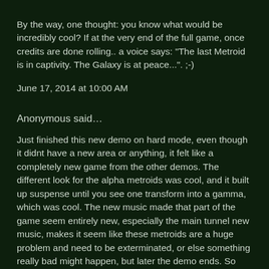By the way, one thought: you know what would be incredibly cool? If at the very end of the full game, once credits are done rolling.. a voice says: "The last Metroid is in captivity. The Galaxy is at peace...". ;-)
June 17, 2014 at 10:00 AM
Anonymous said…
Just finished this new demo on hard mode, even though it didnt have a new area or anything, it felt like a completely new game from the other demos. The different look for the alpha metroids was cool, and it built up suspense until you see one transform into a gamma, which was cool. The new music made that part of the game seem entirely new, especially the main tunnel new music, makes it seem like these metroids are a huge problem and need to be exterminated, or else something really bad might happen, but later the demo ends. So sad :( Also, the third mini